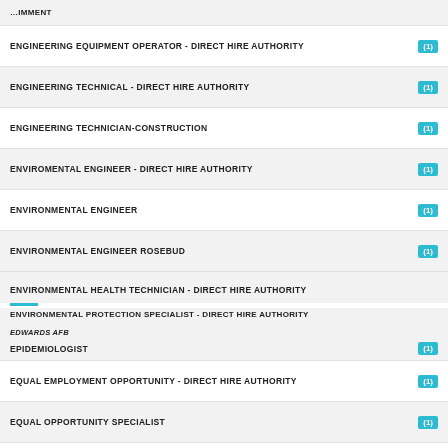ENGINEERING EQUIPMENT OPERATOR - DIRECT HIRE AUTHORITY (1)
ENGINEERING TECHNICAL - DIRECT HIRE AUTHORITY (1)
ENGINEERING TECHNICIAN-CONSTRUCTION (1)
ENVIROMENTAL ENGINEER - DIRECT HIRE AUTHORITY (1)
ENVIRONMENTAL ENGINEER (1)
ENVIRONMENTAL ENGINEER ROSEBUD (1)
ENVIRONMENTAL HEALTH TECHNICIAN - DIRECT HIRE AUTHORITY
ENVIRONMENTAL PROTECTION SPECIALIST - DIRECT HIRE AUTHORITY EDWARDS AFB
EPIDEMIOLOGIST (1)
EQUAL EMPLOYMENT OPPORTUNITY - DIRECT HIRE AUTHORITY (1)
EQUAL OPPORTUNITY SPECIALIST (1)
EQUIPMENT CLEANER - DIRECT HIRE AUTHORITY (1)
EQUIPMENT CLEANING DIRECT HIRE AUTHORITY (1)